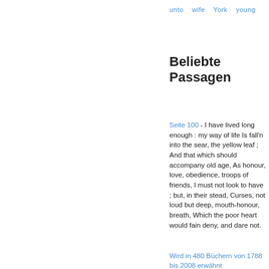unto   wife   York   young
Beliebte Passagen
Seite 100 - I have lived long enough : my way of life Is fall'n into the sear, the yellow leaf ; And that which should accompany old age, As honour, love, obedience, troops of friends, I must not look to have ; but, in their stead, Curses, not loud but deep, mouth-honour, breath, Which the poor heart would fain deny, and dare not.
Wird in 480 Büchern von 1788 bis 2008 erwähnt